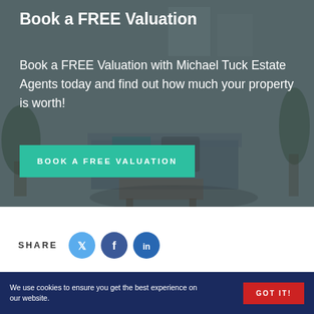Book a FREE Valuation
Book a FREE Valuation with Michael Tuck Estate Agents today and find out how much your property is worth!
BOOK A FREE VALUATION
SHARE
[Figure (other): Social share icons: Twitter (blue circle), Facebook (dark blue circle), LinkedIn (blue circle)]
Similar properties for rent
We use cookies to ensure you get the best experience on our website.
GOT IT!